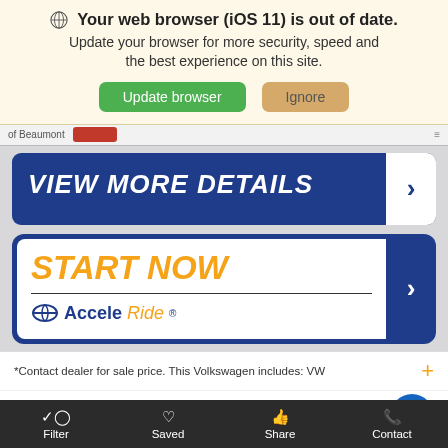🌐 Your web browser (iOS 11) is out of date. Update your browser for more security, speed and the best experience on this site.
[Figure (screenshot): Browser update banner with Update browser (green) and Ignore (tan) buttons]
[Figure (screenshot): VIEW MORE DETAILS button in dark blue with white arrow on right]
[Figure (screenshot): START NOW / AcceleRide button: orange START NOW text, horizontal rule, AcceleRide logo, blue arrow on right]
*Contact dealer for sale price. This Volkswagen includes: VW
[Figure (screenshot): Bottom navigation bar with Filter, Saved, Share, Contact items and accessibility icon]
Filter  Saved  Share  Contact